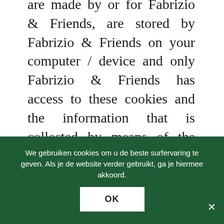are made by or for Fabrizio & Friends, are stored by Fabrizio & Friends on your computer / device and only Fabrizio & Friends has access to these cookies and the information that is collected by means of the cookie. As already mentioned, however, third-party cookies are also placed via the online Services of Fabrizio & Friends. Cookies from third parties are made by or for third parties and are stored by third parties on your
We gebruiken cookies om u de beste surfervaring te geven. Als je de website verder gebruikt, ga je hiermee akkoord.
OK